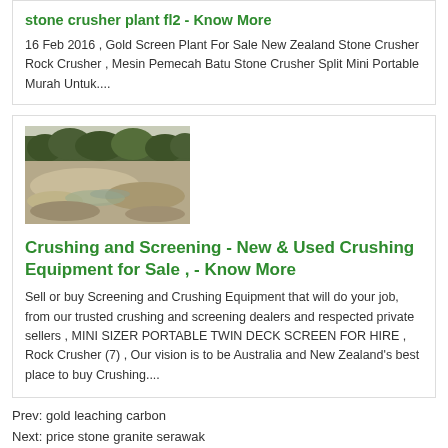stone crusher plant fl2 - Know More
16 Feb 2016 , Gold Screen Plant For Sale New Zealand Stone Crusher Rock Crusher , Mesin Pemecah Batu Stone Crusher Split Mini Portable Murah Untuk....
[Figure (photo): Outdoor quarry/crushing site with sandy/rocky terrain and trees in background]
Crushing and Screening - New & Used Crushing Equipment for Sale , - Know More
Sell or buy Screening and Crushing Equipment that will do your job, from our trusted crushing and screening dealers and respected private sellers , MINI SIZER PORTABLE TWIN DECK SCREEN FOR HIRE , Rock Crusher (7) , Our vision is to be Australia and New Zealand's best place to buy Crushing....
Prev: gold leaching carbon
Next: price stone granite serawak